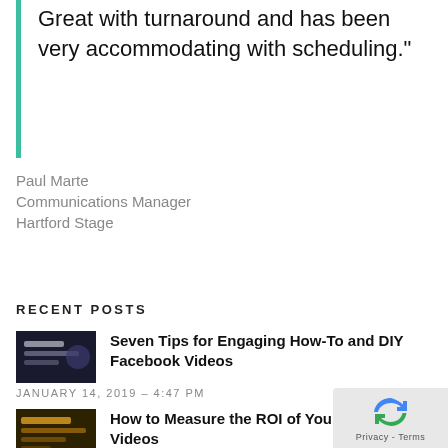Great with turnaround and has been very accommodating with scheduling."
Paul Marte
Communications Manager
Hartford Stage
RECENT POSTS
Seven Tips for Engaging How-To and DIY Facebook Videos
JANUARY 14, 2019 – 4:47 PM
How to Measure the ROI of Your Marketing Videos
DECEMBER 14, 2018 – 5:34 PM
How to Showcase Your Operations and Machinery with Photography